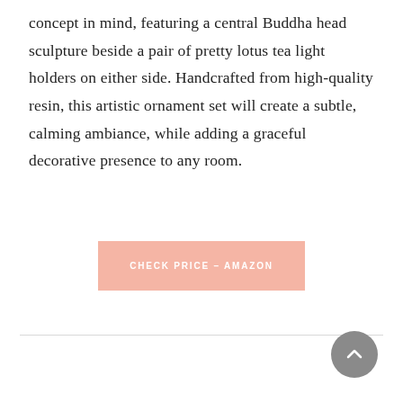concept in mind, featuring a central Buddha head sculpture beside a pair of pretty lotus tea light holders on either side. Handcrafted from high-quality resin, this artistic ornament set will create a subtle, calming ambiance, while adding a graceful decorative presence to any room.
CHECK PRICE – AMAZON
[Figure (other): Back to top circular button with upward chevron arrow, grey background]